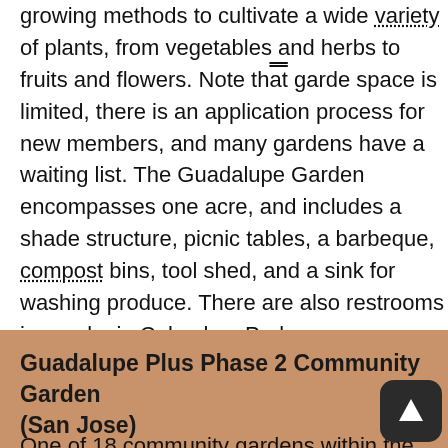growing methods to cultivate a wide variety of plants, from vegetables and herbs to fruits and flowers. Note that garden space is limited, there is an application process for new members, and many gardens have a waiting list. The Guadalupe Garden encompasses one acre, and includes a shade structure, picnic tables, a barbeque, compost bins, tool shed, and a sink for washing produce. There are also restrooms in nearby in Columbus Park.
Guadalupe Plus Phase 2 Community Garden (San Jose)
One of 18 community gardens within the San Jose metorpolitan area. Grow plots range in size from 10 x10 to 20 x 30, and are assigned to residents on a first come, first served basis. Gardeners employ organic